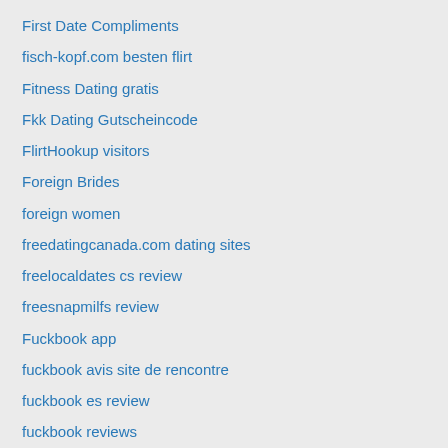First Date Compliments
fisch-kopf.com besten flirt
Fitness Dating gratis
Fkk Dating Gutscheincode
FlirtHookup visitors
Foreign Brides
foreign women
freedatingcanada.com dating sites
freelocaldates cs review
freesnapmilfs review
Fuckbook app
fuckbook avis site de rencontre
fuckbook es review
fuckbook reviews
fuckswine reviews